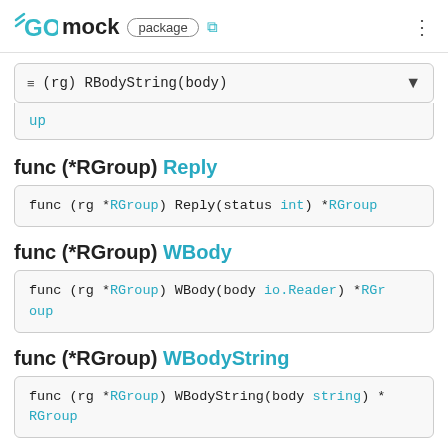GO mock package
(rg) RBodyString(body)
up
func (*RGroup) Reply
func (rg *RGroup) Reply(status int) *RGroup
func (*RGroup) WBody
func (rg *RGroup) WBody(body io.Reader) *RGroup
func (*RGroup) WBodyString
func (rg *RGroup) WBodyString(body string) *RGroup